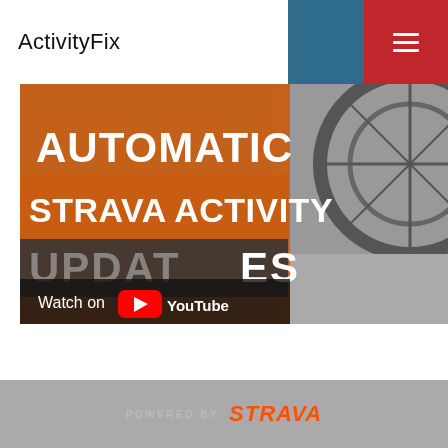ActivityFix
[Figure (screenshot): YouTube video thumbnail showing text 'AUTOMATIC STRAVA ACTIVITY UPDATES' in orange and white bold text over a dark background, with a bicycle wheel visible on the right side, and a 'Watch on YouTube' button overlay at the bottom left.]
POWERED BY STRAVA